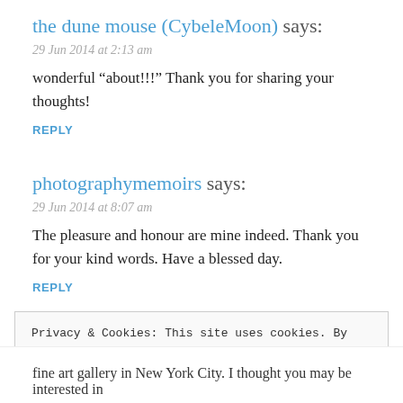the dune mouse (CybeleMoon) says:
29 Jun 2014 at 2:13 am
wonderful “about!!!” Thank you for sharing your thoughts!
REPLY
photographymemoirs says:
29 Jun 2014 at 8:07 am
The pleasure and honour are mine indeed. Thank you for your kind words. Have a blessed day.
REPLY
Privacy & Cookies: This site uses cookies. By continuing to use this website, you agree to their use.
To find out more, including how to control cookies, see here: Cookie Policy
Close and accept
fine art gallery in New York City. I thought you may be interested in